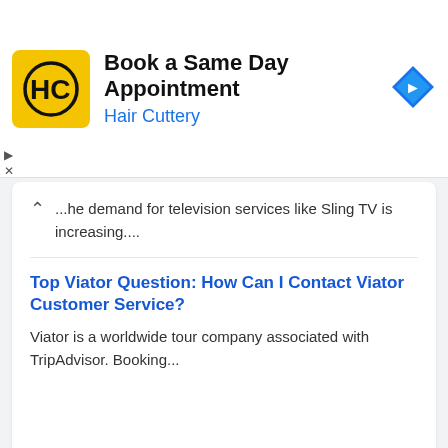[Figure (logo): Hair Cuttery logo - yellow square with HC letters in black circle]
Book a Same Day Appointment
Hair Cuttery
...he demand for television services like Sling TV is increasing....
Top Viator Question: How Can I Contact Viator Customer Service?
Viator is a worldwide tour company associated with TripAdvisor. Booking...
Latest Articles
[Figure (photo): Overhead photo of various foods including green apples, lettuce, red meat, peanuts, salmon, spinach, and tomatoes on a dark background]